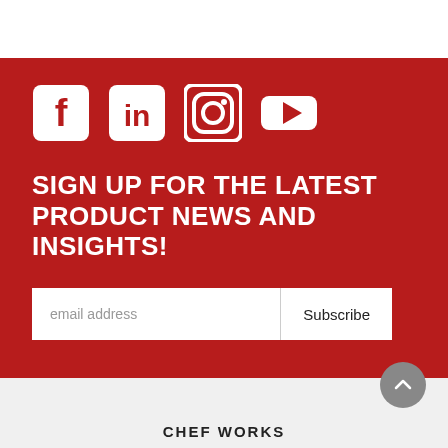[Figure (infographic): Social media icons: Facebook, LinkedIn, Instagram, YouTube on red background]
SIGN UP FOR THE LATEST PRODUCT NEWS AND INSIGHTS!
email address   Subscribe
CHEF WORKS